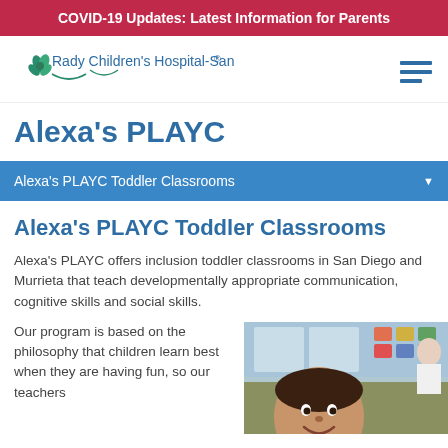COVID-19 Updates: Latest Information for Parents
[Figure (logo): Rady Children's Hospital-San Diego logo with teal leaf icon]
Alexa's PLAYC
Alexa's PLAYC Toddler Classrooms
Alexa's PLAYC Toddler Classrooms
Alexa's PLAYC offers inclusion toddler classrooms in San Diego and Murrieta that teach developmentally appropriate communication, cognitive skills and social skills.
Our program is based on the philosophy that children learn best when they are having fun, so our teachers
[Figure (photo): A smiling toddler boy in a colorful classroom setting]